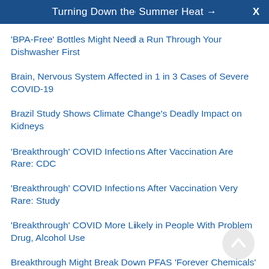Turning Down the Summer Heat →  X
'BPA-Free' Bottles Might Need a Run Through Your Dishwasher First
Brain, Nervous System Affected in 1 in 3 Cases of Severe COVID-19
Brazil Study Shows Climate Change's Deadly Impact on Kidneys
'Breakthrough' COVID Infections After Vaccination Are Rare: CDC
'Breakthrough' COVID Infections After Vaccination Very Rare: Study
'Breakthrough' COVID More Likely in People With Problem Drug, Alcohol Use
Breakthrough Might Break Down PFAS 'Forever Chemicals'
Breast Milk May Help Shield Infants From Dangerous Viruses